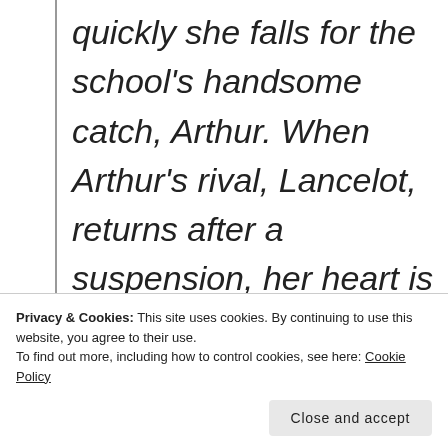quickly she falls for the school's handsome catch, Arthur. When Arthur's rival, Lancelot, returns after a suspension, her heart is soon divided. Realising that behind the UK's prosperity lies unspeakable cruelty, Gwenhwyfar sets off on a path to
Privacy & Cookies: This site uses cookies. By continuing to use this website, you agree to their use. To find out more, including how to control cookies, see here: Cookie Policy
Future King: Logres is a story of